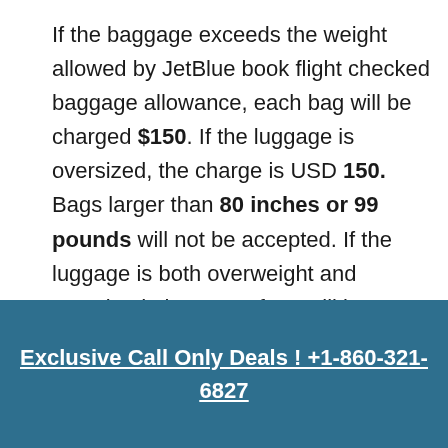If the baggage exceeds the weight allowed by JetBlue book flight checked baggage allowance, each bag will be charged $150. If the luggage is oversized, the charge is USD 150. Bags larger than 80 inches or 99 pounds will not be accepted. If the luggage is both overweight and oversized, these two fees will be charged.
JetBlue Airlines Manage Booking
Exclusive Call Only Deals ! +1-860-321-6827